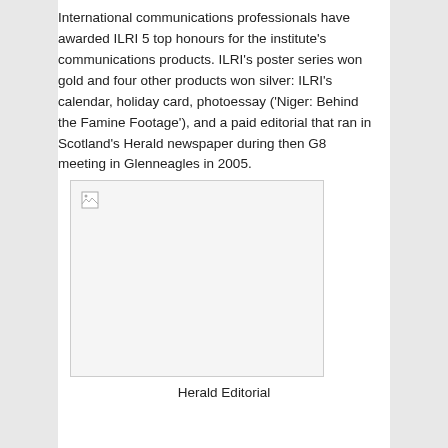International communications professionals have awarded ILRI 5 top honours for the institute's communications products. ILRI's poster series won gold and four other products won silver: ILRI's calendar, holiday card, photoessay ('Niger: Behind the Famine Footage'), and a paid editorial that ran in Scotland's Herald newspaper during then G8 meeting in Glenneagles in 2005.
[Figure (photo): Broken image placeholder representing Herald Editorial image]
Herald Editorial